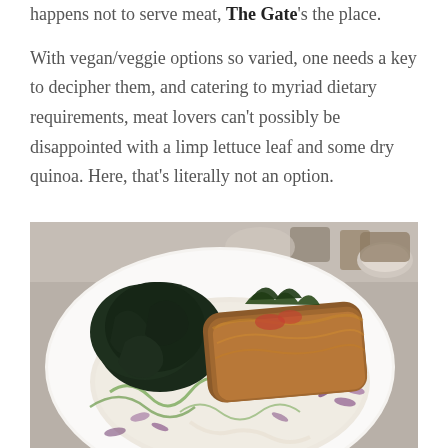happens not to serve meat, The Gate's the place.

With vegan/veggie options so varied, one needs a key to decipher them, and catering to myriad dietary requirements, meat lovers can't possibly be disappointed with a limp lettuce leaf and some dry quinoa. Here, that's literally not an option.
[Figure (photo): A plate of food at The Gate restaurant: a breaded/crusted dish served on a large white plate with dark sautéed greens (kale), a creamy white sauce, and green herb oil swirls with purple microgreens garnish.]